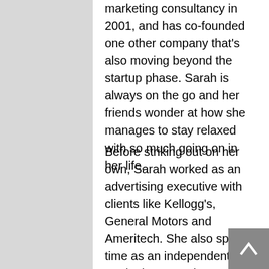marketing consultancy in 2001, and has co-founded one other company that's also moving beyond the startup phase. Sarah is always on the go and her friends wonder at how she manages to stay relaxed with so much going on in her life.
Before striking out on her own, Sarah worked as an advertising executive with clients like Kellogg's, General Motors and Ameritech. She also spent time as an independent marketing consultant, entrepreneur and product designer. Sarah managed client relationships and developed advertising strategy for big brands like Kellogg, Ragu, MSN, and GMC.